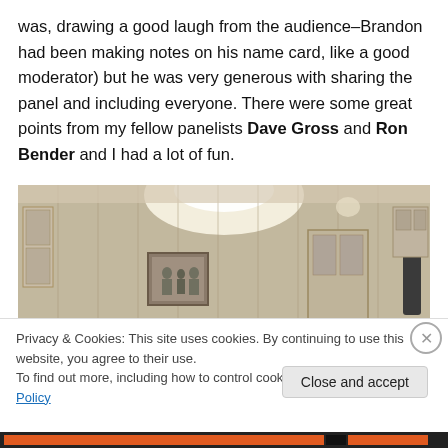was, drawing a good laugh from the audience–Brandon had been making notes on his name card, like a good moderator) but he was very generous with sharing the panel and including everyone. There were some great points from my fellow panelists Dave Gross and Ron Bender and I had a lot of fun.
[Figure (photo): Interior room photo showing a wall with vertical paneling, a bright ceiling light, framed artwork on the wall, and a door. A speaker/microphone stand is visible on the right side.]
Privacy & Cookies: This site uses cookies. By continuing to use this website, you agree to their use.
To find out more, including how to control cookies, see here: Cookie Policy
Close and accept